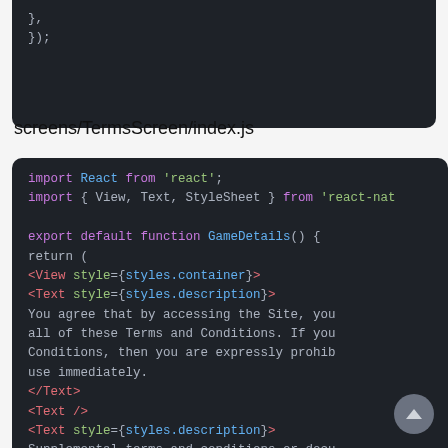[Figure (screenshot): Top portion of a dark-themed code editor showing closing braces: }, and });]
screens/TermsScreen/index.js
[Figure (screenshot): Dark-themed code editor screenshot showing React Native component code for TermsScreen with import statements, export default function GameDetails(), return with JSX including View and Text components with style props and terms and conditions text content.]